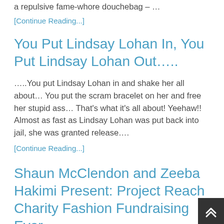a repulsive fame-whore douchebag – …
[Continue Reading...]
You Put Lindsay Lohan In, You Put Lindsay Lohan Out…..
…..You put Lindsay Lohan in and shake her all about… You put the scram bracelet on her and free her stupid ass… That's what it's all about! Yeehaw!! Almost as fast as Lindsay Lohan was put back into jail, she was granted release….
[Continue Reading...]
Shaun McClendon and Zeeba Hakimi Present: Project Reach Charity Fashion Fundraising Ever…